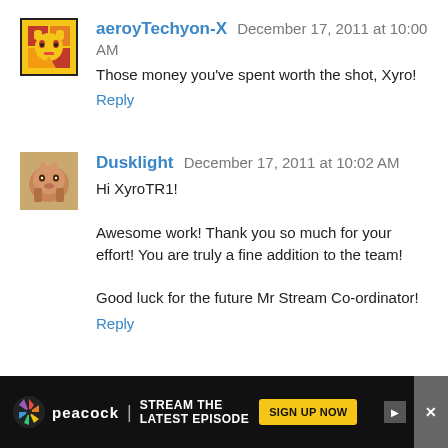[Figure (illustration): Avatar image for aeroyTechyon-X, a pixel-art style pony character with yellow and red colors]
aeroyTechyon-X December 17, 2011 at 10:00 AM
Those money you've spent worth the shot, Xyro!
Reply
[Figure (illustration): Avatar image for Dusklight, a cartoon pony character in brown/tan colors]
Dusklight December 17, 2011 at 10:02 AM
Hi XyroTR1!

Awesome work! Thank you so much for your effort! You are truly a fine addition to the team!

Good luck for the future Mr Stream Co-ordinator!
Reply
[Figure (illustration): Blogger default avatar: orange circle with white B letter]
Cloudy Kitty December 17, 2011 at 10:03 AM
@XyroTR1
That was a fun topic!
[Figure (screenshot): Peacock advertisement banner: black background with NBC Peacock logo, text STREAM THE LATEST EPISODE, yellow SIGN UP NOW button, close button with X]